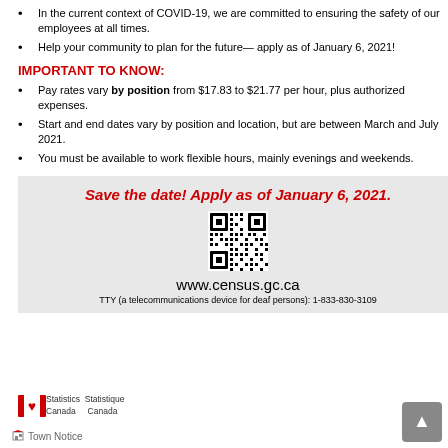In the current context of COVID-19, we are committed to ensuring the safety of our employees at all times.
Help your community to plan for the future— apply as of January 6, 2021!
IMPORTANT TO KNOW:
Pay rates vary by position from $17.83 to $21.77 per hour, plus authorized expenses.
Start and end dates vary by position and location, but are between March and July 2021.
You must be available to work flexible hours, mainly evenings and weekends.
[Figure (infographic): Grey callout box with red italic bold text 'Save the date! Apply as of January 6, 2021.' followed by a QR code, www.census.gc.ca URL, and TTY phone number.]
[Figure (logo): Statistics Canada / Statistique Canada logo with red maple leaf flag icon]
Town Notice